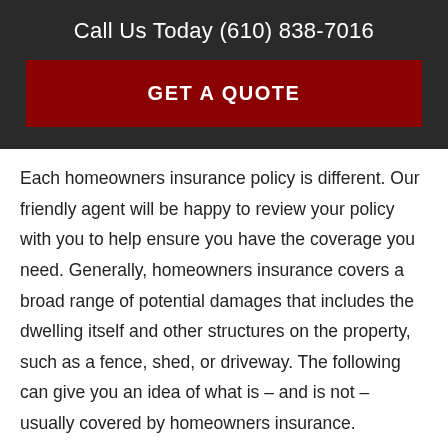Call Us Today (610) 838-7016
[Figure (other): GET A QUOTE button — dark red rectangular call-to-action button on dark background]
Each homeowners insurance policy is different. Our friendly agent will be happy to review your policy with you to help ensure you have the coverage you need. Generally, homeowners insurance covers a broad range of potential damages that includes the dwelling itself and other structures on the property, such as a fence, shed, or driveway. The following can give you an idea of what is – and is not – usually covered by homeowners insurance.